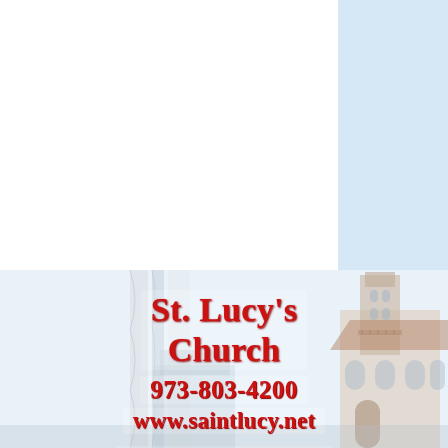[Figure (photo): Background photo of St. Lucy's Church building exterior with flags on the left side and a bell tower visible, shown in muted/faded colors. Light blue panel in top-right corner.]
St. Lucy's Church
973-803-4200
www.saintlucy.net
118 Seventh Ave
Newark, NJ 07104